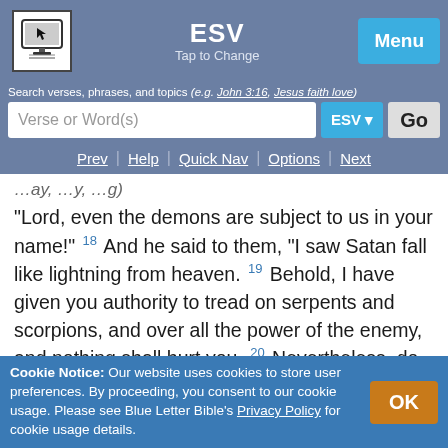ESV | Tap to Change | Menu
Search verses, phrases, and topics (e.g. John 3:16, Jesus faith love)
Verse or Word(s) | ESV | Go
Prev | Help | Quick Nav | Options | Next
“Lord, even the demons are subject to us in your name!” 18 And he said to them, “I saw Satan fall like lightning from heaven. 19 Behold, I have given you authority to tread on serpents and scorpions, and over all the power of the enemy, and nothing shall hurt you. 20 Nevertheless, do not rejoice in this, that the spirits are subject to you, but rejoice that your names are written in heaven.”
Cookie Notice: Our website uses cookies to store user preferences. By proceeding, you consent to our cookie usage. Please see Blue Letter Bible’s Privacy Policy for cookie usage details. OK